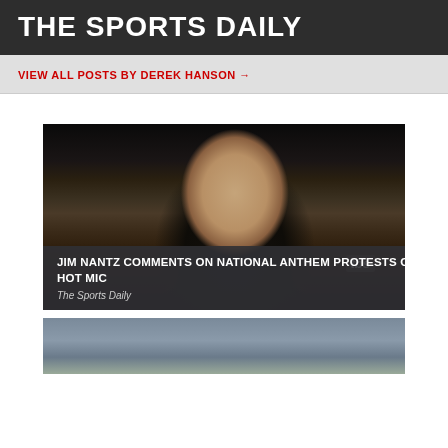THE SPORTS DAILY
VIEW ALL POSTS BY DEREK HANSON →
[Figure (photo): Man in suit holding a TBS microphone, appears to be a sports broadcaster (Jim Nantz) on a dark background]
JIM NANTZ COMMENTS ON NATIONAL ANTHEM PROTESTS ON HOT MIC
The Sports Daily
[Figure (photo): Partially visible sports player in red and white uniform, outdoors crowd in background]